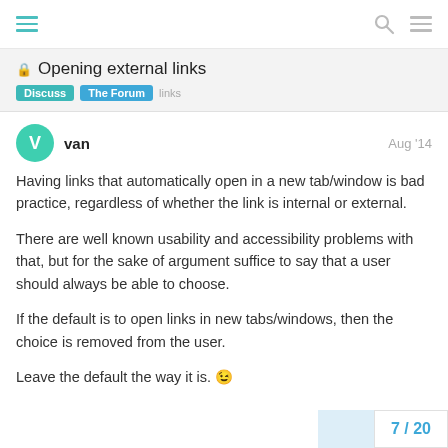Opening external links — Discuss / The Forum / links
Opening external links
van — Aug '14
Having links that automatically open in a new tab/window is bad practice, regardless of whether the link is internal or external.
There are well known usability and accessibility problems with that, but for the sake of argument suffice to say that a user should always be able to choose.
If the default is to open links in new tabs/windows, then the choice is removed from the user.
Leave the default the way it is. 😉
7 / 20